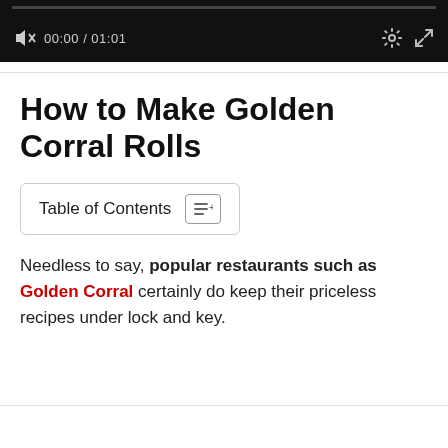[Figure (screenshot): Video player bar showing progress bar at top, speaker muted icon, time 00:00 / 01:01, gear settings icon, and expand/fullscreen icon, all on black background.]
How to Make Golden Corral Rolls
Table of Contents
Needless to say, popular restaurants such as Golden Corral certainly do keep their priceless recipes under lock and key.